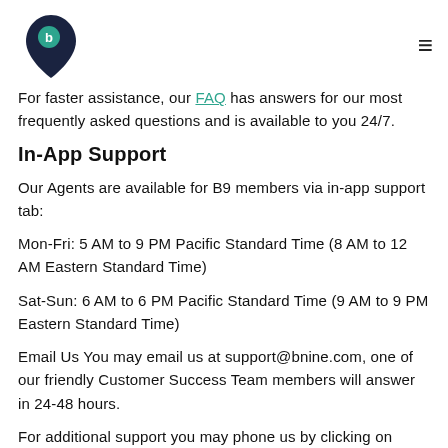[B9 logo] [hamburger menu]
For faster assistance, our FAQ has answers for our most frequently asked questions and is available to you 24/7.
In-App Support
Our Agents are available for B9 members via in-app support tab:
Mon-Fri: 5 AM to 9 PM Pacific Standard Time (8 AM to 12 AM Eastern Standard Time)
Sat-Sun: 6 AM to 6 PM Pacific Standard Time (9 AM to 9 PM Eastern Standard Time)
Email Us You may email us at support@bnine.com, one of our friendly Customer Success Team members will answer in 24-48 hours.
For additional support you may phone us by clicking on